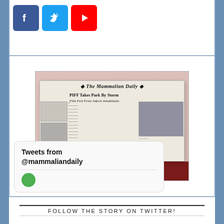[Figure (screenshot): Social media icons: Facebook (blue), Twitter (light blue), YouTube (red) square rounded buttons]
[Figure (photo): Stack of The Mammalian Daily newspapers on a red table. Headline reads: PIFF Takes Park By Storm — Film Fest Fever Infects Inhabitants]
FOLLOW THE STORY ON TWITTER!
[Figure (screenshot): Twitter widget showing 'Tweets from @mammaliandaily']